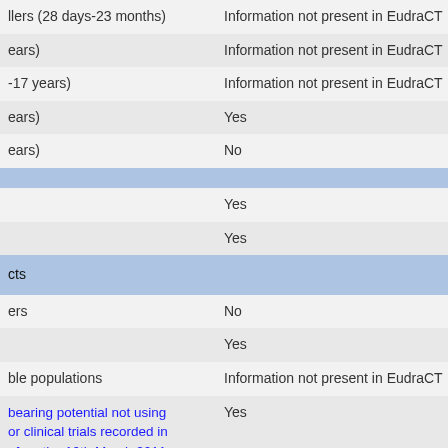| Category | Value |
| --- | --- |
| llers (28 days-23 months) | Information not present in EudraCT |
| ears) | Information not present in EudraCT |
| -17 years) | Information not present in EudraCT |
| ears) | Yes |
| ears) | No |
| (blue header row) |  |
|  | Yes |
|  | Yes |
| cts (blue header row) |  |
| ers | No |
|  | Yes |
| ble populations | Information not present in EudraCT |
| bearing potential not using
or clinical trials recorded in
efore the 10th March 2011
ad: "Women of childbearing
d not include the words "not
tion". An answer of yes could
omen of child bearing | Yes |